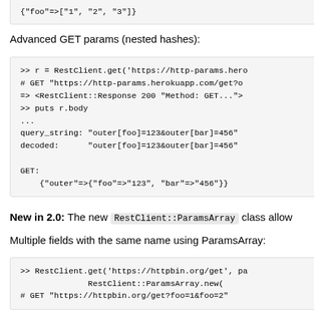{"foo"=>["1", "2", "3"]}
Advanced GET params (nested hashes):
>> r = RestClient.get('https://http-params.hero
# GET "https://http-params.herokuapp.com/get?o
=> <RestClient::Response 200 "Method: GET...">
>> puts r.body
...
query_string: "outer[foo]=123&outer[bar]=456"
decoded:      "outer[foo]=123&outer[bar]=456"

GET:
    {"outer"=>{"foo"=>"123", "bar"=>"456"}}
New in 2.0: The new RestClient::ParamsArray class allow
Multiple fields with the same name using ParamsArray:
>> RestClient.get('https://httpbin.org/get', pa
              RestClient::ParamsArray.new(
# GET "https://httpbin.org/get?foo=1&foo=2"